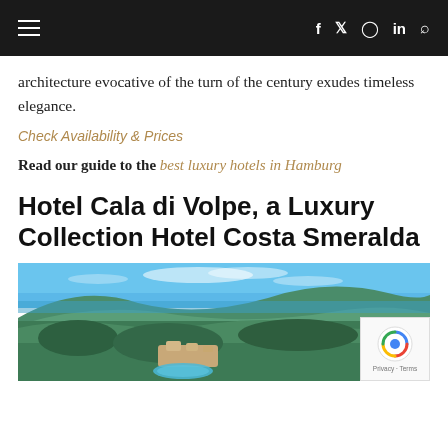≡  f  𝕏  ◎  in  🔍
architecture evocative of the turn of the century exudes timeless elegance.
Check Availability & Prices
Read our guide to the best luxury hotels in Hamburg
Hotel Cala di Volpe, a Luxury Collection Hotel Costa Smeralda
[Figure (photo): Aerial view of Hotel Cala di Volpe and surrounding Costa Smeralda landscape with lush green hills, blue sea in background, and the hotel complex with turquoise water feature visible.]